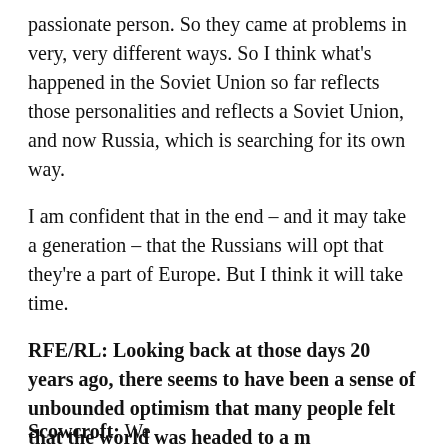passionate person. So they came at problems in very, very different ways. So I think what's happened in the Soviet Union so far reflects those personalities and reflects a Soviet Union, and now Russia, which is searching for its own way.
I am confident that in the end – and it may take a generation – that the Russians will opt that they're a part of Europe. But I think it will take time.
RFE/RL: Looking back at those days 20 years ago, there seems to have been a sense of unbounded optimism that many people felt that the world was headed to a m[ore peaceful place.] Today of cours[e, there is less] sense of optim[ism.]
[Figure (other): Orange arrow navigation bar on left with a popup box showing a broken image placeholder and text: Interview: EU Foreign Policy Chief Expects Brussels To Further Restrict Visas For Russians]
Scowcroft: We[...]